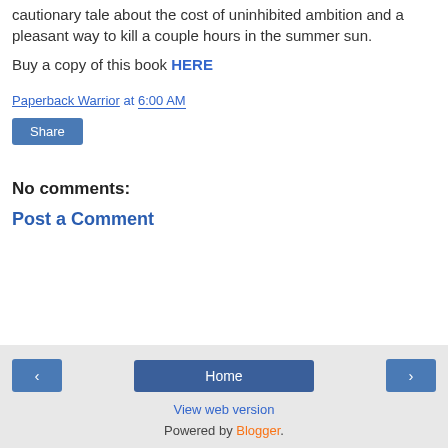cautionary tale about the cost of uninhibited ambition and a pleasant way to kill a couple hours in the summer sun.
Buy a copy of this book HERE
Paperback Warrior at 6:00 AM
Share
No comments:
Post a Comment
‹  Home  ›  View web version  Powered by Blogger.